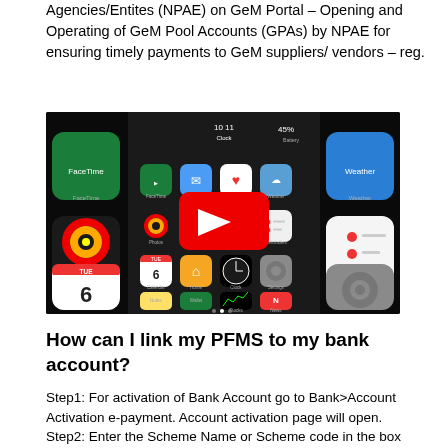Agencies/Entites (NPAE) on GeM Portal – Opening and Operating of GeM Pool Accounts (GPAs) by NPAE for ensuring timely payments to GeM suppliers/ vendors – reg.
[Figure (screenshot): A YouTube video thumbnail showing an iOS home screen with app icons (FaceTime, Photos, Calendar, Weather, Reminders, Notes, Wallet, News, etc.) displaying a red YouTube play button overlay in the center. Battery shows 45% and time shows approximately 10:11. Date shows TUE 6.]
How can I link my PFMS to my bank account?
Step1: For activation of Bank Account go to Bank>Account Activation e-payment. Account activation page will open. Step2: Enter the Scheme Name or Scheme code in the box